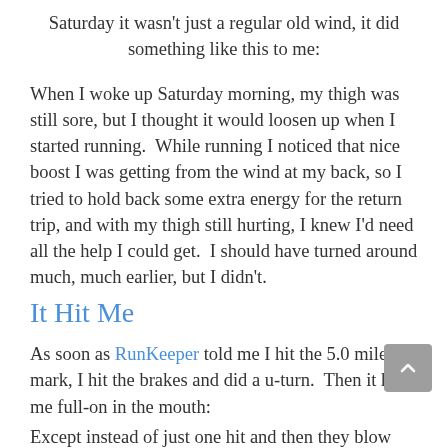Saturday it wasn't just a regular old wind, it did something like this to me:
When I woke up Saturday morning, my thigh was still sore, but I thought it would loosen up when I started running.  While running I noticed that nice boost I was getting from the wind at my back, so I tried to hold back some extra energy for the return trip, and with my thigh still hurting, I knew I'd need all the help I could get.  I should have turned around much, much earlier, but I didn't.
It Hit Me
As soon as RunKeeper told me I hit the 5.0 mile mark, I hit the brakes and did a u-turn.  Then it hit me full-on in the mouth:
Except instead of just one hit and then they blow the whistle, it was a persistent, painful reminder